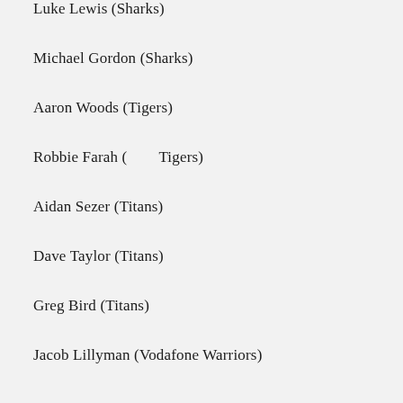Luke Lewis (Sharks)
Michael Gordon (Sharks)
Aaron Woods (Tigers)
Robbie Farah (        Tigers)
Aidan Sezer (Titans)
Dave Taylor (Titans)
Greg Bird (Titans)
Jacob Lillyman (Vodafone Warriors)